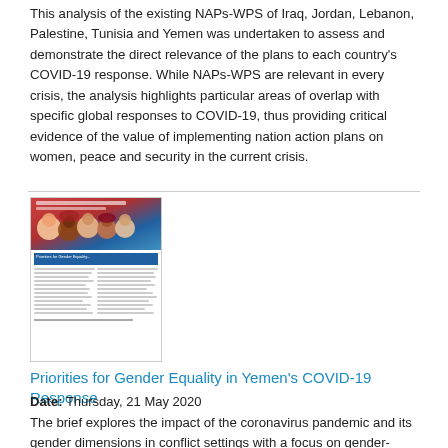This analysis of the existing NAPs-WPS of Iraq, Jordan, Lebanon, Palestine, Tunisia and Yemen was undertaken to assess and demonstrate the direct relevance of the plans to each country's COVID-19 response. While NAPs-WPS are relevant in every crisis, the analysis highlights particular areas of overlap with specific global responses to COVID-19, thus providing critical evidence of the value of implementing nation action plans on women, peace and security in the current crisis.
[Figure (photo): Thumbnail image of a document page with colorful header showing diverse women's faces, and body text columns below, representing a publication about gender equality in Yemen's COVID-19 response.]
Priorities for Gender Equality in Yemen's COVID-19 Response
Date: Thursday, 21 May 2020
The brief explores the impact of the coronavirus pandemic and its gender dimensions in conflict settings with a focus on gender-based violence (GBV), women's participation in decision-making, labour markets and livelihoods. The paper outlines gender issues and recommendations for stakeholders and national/international